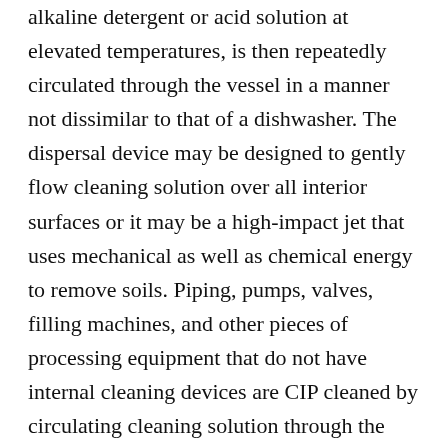alkaline detergent or acid solution at elevated temperatures, is then repeatedly circulated through the vessel in a manner not dissimilar to that of a dishwasher. The dispersal device may be designed to gently flow cleaning solution over all interior surfaces or it may be a high-impact jet that uses mechanical as well as chemical energy to remove soils. Piping, pumps, valves, filling machines, and other pieces of processing equipment that do not have internal cleaning devices are CIP cleaned by circulating cleaning solution through the parts that contact beer or wort.
The central unit in any CIP cleaning process is the CIP station or CIP unit. This consists of a number of vessels for cleaning solutions plate heat exchangers